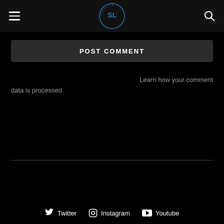SL SHIDLIFE logo with hamburger menu and search icon
POST COMMENT
Learn how your comment data is processed
Twitter  Instagram  Youtube